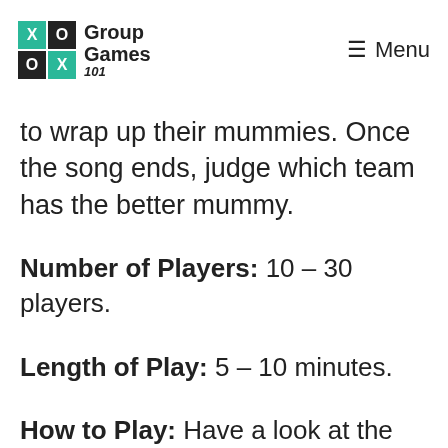Group Games 101 | Menu
to wrap up their mummies. Once the song ends, judge which team has the better mummy.
Number of Players: 10 – 30 players.
Length of Play: 5 – 10 minutes.
How to Play: Have a look at the